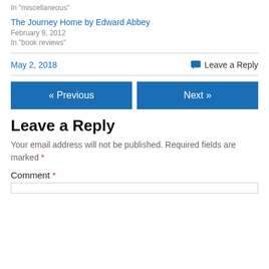In "miscellaneous"
The Journey Home by Edward Abbey
February 9, 2012
In "book reviews"
May 2, 2018
Leave a Reply
« Previous
Next »
Leave a Reply
Your email address will not be published. Required fields are marked *
Comment *